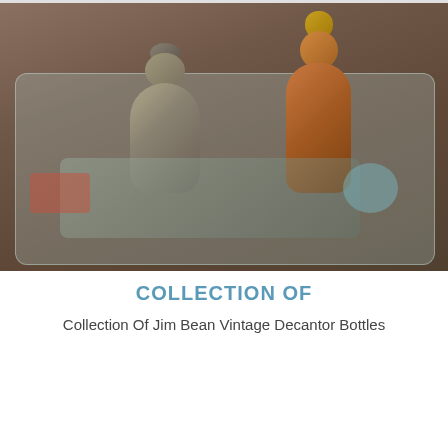[Figure (photo): Photograph of a collection of Jim Bean vintage decanter bottles in a plastic tub, on a brown carpet background. Two figurine-style bottles are visible — one gray/stone colored on the left and one brown/copper colored on the right.]
COLLECTION OF
Collection Of Jim Bean Vintage Decantor Bottles
$200.00